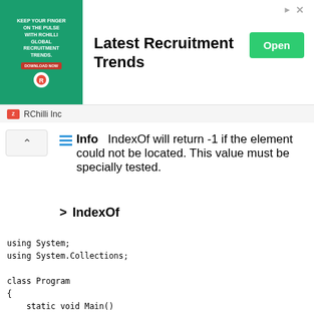[Figure (other): Advertisement banner for RChilli Inc - Latest Recruitment Trends with green Open button]
Info   IndexOf will return -1 if the element could not be located. This value must be specially tested.
> IndexOf
using System;
using System.Collections;

class Program
{
    static void Main()
    {
        ArrayList list = new ArrayList();
        list.Add(5);
        list.Add(7);

        // Call IndexOf.
        int result = list.IndexOf(7);
        Console.WriteLine("RESULT: {0}", result);
        Console.WriteLine("NOT FOUND: {0}"